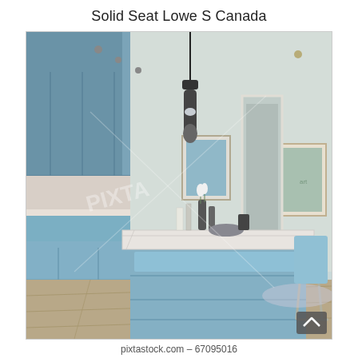Solid Seat Lowe S Canada
[Figure (photo): Interior kitchen render showing blue-grey cabinetry, a large kitchen island with white marble countertop, pendant black cylindrical light fixture hanging from ceiling, bar stools with light blue upholstery, framed wall art, wooden plank flooring, and open living area in background. Watermark 'PIXTA' visible across center of image.]
pixtastock.com – 67095016